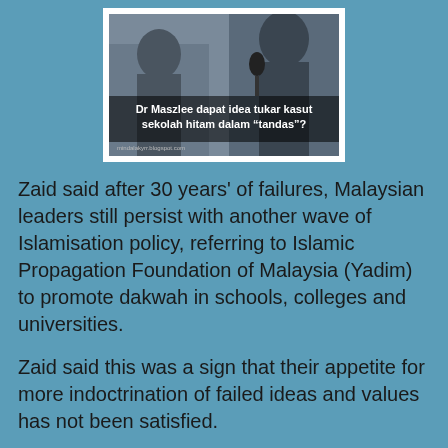[Figure (photo): A news/blog image with text overlay reading 'Dr Maszlee dapat idea tukar kasut sekolah hitam dalam "tandas"?' with source URL mindalakyrr.blogspot.com shown at bottom]
Zaid said after 30 years' of failures, Malaysian leaders still persist with another wave of Islamisation policy, referring to Islamic Propagation Foundation of Malaysia (Yadim) to promote dakwah in schools, colleges and universities.
Zaid said this was a sign that their appetite for more indoctrination of failed ideas and values has not been satisfied.
“What new things will they teach the Malay and Muslims youth that will change their character as Malays? I hope not more fascination with violence and the denial of basic rights of others who do not